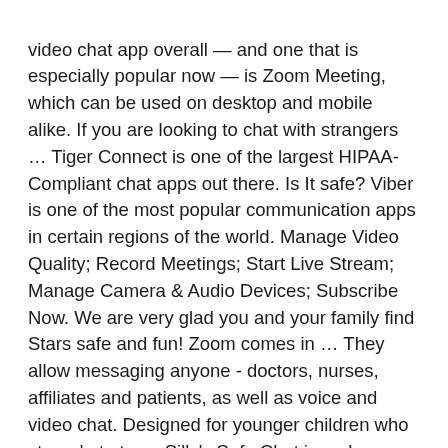video chat app overall — and one that is especially popular now — is Zoom Meeting, which can be used on desktop and mobile alike. If you are looking to chat with strangers … Tiger Connect is one of the largest HIPAA-Compliant chat apps out there. Is It safe? Viber is one of the most popular communication apps in certain regions of the world. Manage Video Quality; Record Meetings; Start Live Stream; Manage Camera & Audio Devices; Subscribe Now. We are very glad you and your family find Stars safe and fun! Zoom comes in … They allow messaging anyone - doctors, nurses, affiliates and patients, as well as voice and video chat. Designed for younger children who struggle to type, Silly's Safe Chat is a phrase menu app with over 200 different chat phrases for Club Penguin Island and other mobile apps. Join our community for free teen chat rooms and blogs for older kids and teenagers. The best video chat app overall — and one that is especially popular now — is Zoom Meeting, which can be used on desktop and mobile alike. Meet Sillywilly53. Messaging apps have been common in Android smartphones since their release, but while there are an increasing number of privacy apps available, there are also a growing number of encrypted chat apps. Viber Messenger. So is it safe? In March